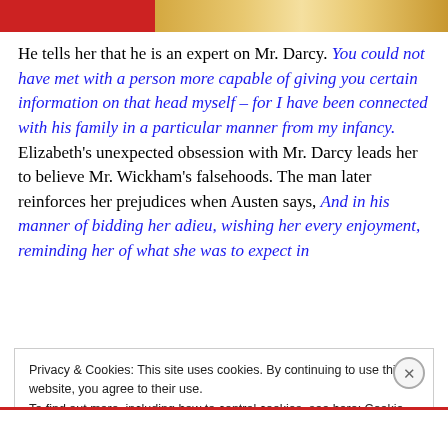[Figure (photo): Partial image visible at top of page, showing red and gold/cream toned colors, possibly a costume or regalia.]
He tells her that he is an expert on Mr. Darcy. You could not have met with a person more capable of giving you certain information on that head myself – for I have been connected with his family in a particular manner from my infancy. Elizabeth's unexpected obsession with Mr. Darcy leads her to believe Mr. Wickham's falsehoods. The man later reinforces her prejudices when Austen says, And in his manner of bidding her adieu, wishing her every enjoyment, reminding her of what she was to expect in
Privacy & Cookies: This site uses cookies. By continuing to use this website, you agree to their use.
To find out more, including how to control cookies, see here: Cookie Policy
Close and accept